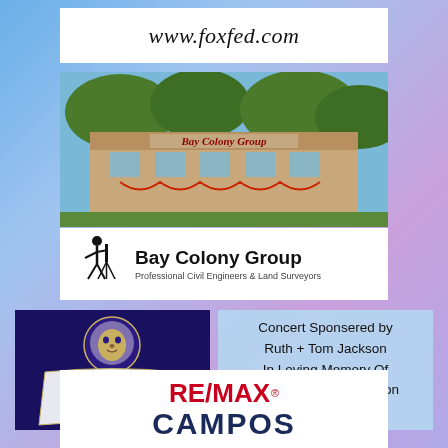[Figure (logo): White box with italic text 'www.foxfed.com']
[Figure (photo): Bay Colony Group building exterior photo with decorative bunting]
[Figure (logo): Bay Colony Group logo with surveyor icon and text 'Bay Colony Group - Professional Civil Engineers & Land Surveyors']
[Figure (logo): Marilyn Rodman Performing Arts Center logo - dark navy background with lion head and ornate text]
Concert Sponsered by Ruth + Tom Jackson In Loving Memory Of Michael William Jackson 1984 - 2016
[Figure (logo): RE/MAX CAMPOS logo - red RE/MAX with navy CAMPOS text below]